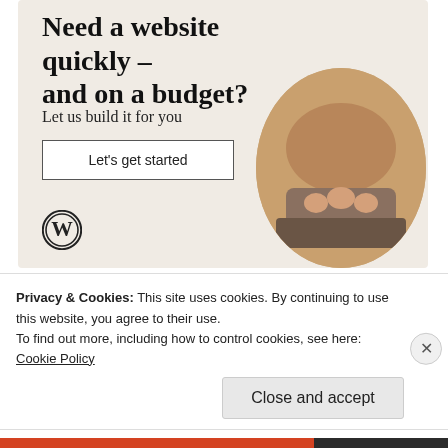[Figure (illustration): WordPress advertisement banner with beige background. Headline: 'Need a website quickly – and on a budget?', subtitle: 'Let us build it for you', a 'Let's get started' button, WordPress logo, and circular photo of person typing on laptop.]
REPORT THIS AD
SHARETHIS:
[Figure (infographic): Row of social sharing icon circles: email (gray), Twitter (blue), Facebook (blue), Tumblr (dark navy), Pinterest (red), Print (gray)]
Privacy & Cookies: This site uses cookies. By continuing to use this website, you agree to their use.
To find out more, including how to control cookies, see here: Cookie Policy